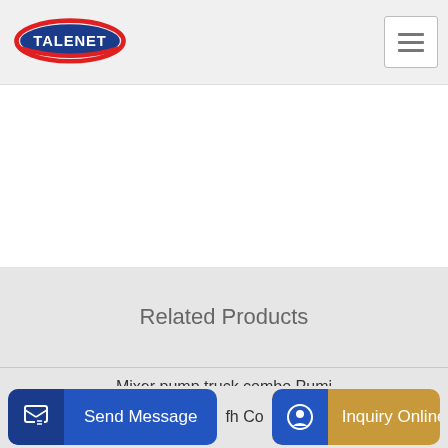TALENET
Related Products
Mixer pump truck combo Pumi
Shotcrete Steves Concrete Pumping
fh Co
Send Message
Inquiry Online